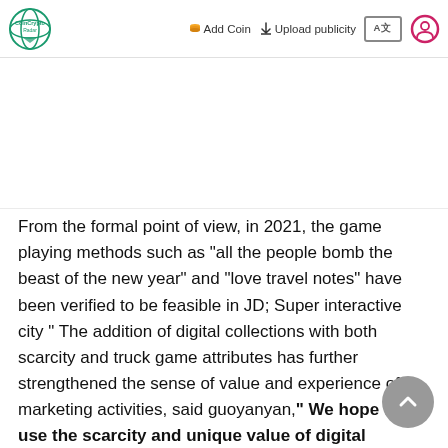CoinCryptoRadar — Add Coin | Upload publicity | A文 | User
From the formal point of view, in 2021, the game playing methods such as "all the people bomb the beast of the new year" and "love travel notes" have been verified to be feasible in JD; Super interactive city " The addition of digital collections with both scarcity and truck game attributes has further strengthened the sense of value and experience of marketing activities, said guoyanyan," We hope to use the scarcity and unique value of digital collections to stimulate consumers' demand for collection and sharing, and help brands and C-end consumers establish better connections"